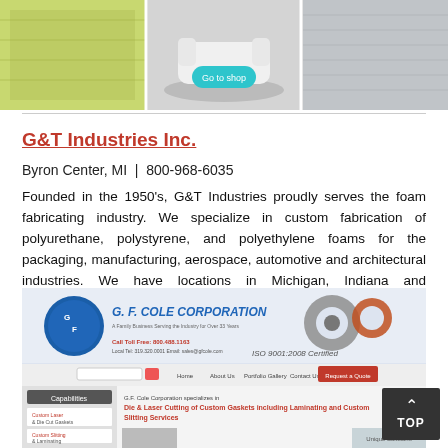[Figure (photo): Banner image with three photos: foam/fabric material, a white round sofa/furniture, and a textured surface. Center image has a teal 'Go to shop' button.]
G&T Industries Inc.
Byron Center, MI  |  800-968-6035
Founded in the 1950's, G&T Industries proudly serves the foam fabricating industry. We specialize in custom fabrication of polyurethane, polystyrene, and polyethylene foams for the packaging, manufacturing, aerospace, automotive and architectural industries. We have locations in Michigan, Indiana and Pennsylvania. For more info, give us a call today!
[Figure (screenshot): Screenshot of G.F. Cole Corporation website showing logo, gasket images, ISO 9001:2008 Certified badge, navigation menu, and text about Die & Laser Cutting of Custom Gaskets including Laminating and Custom Slitting Services.]